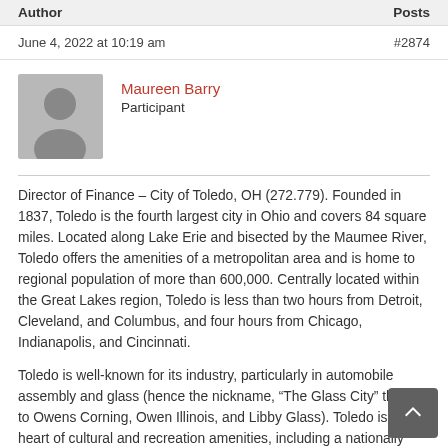Author	Posts
June 4, 2022 at 10:19 am	#2874
Maureen Barry
Participant
Director of Finance – City of Toledo, OH (272.779). Founded in 1837, Toledo is the fourth largest city in Ohio and covers 84 square miles. Located along Lake Erie and bisected by the Maumee River, Toledo offers the amenities of a metropolitan area and is home to regional population of more than 600,000. Centrally located within the Great Lakes region, Toledo is less than two hours from Detroit, Cleveland, and Columbus, and four hours from Chicago, Indianapolis, and Cincinnati.
Toledo is well-known for its industry, particularly in automobile assembly and glass (hence the nickname, “The Glass City” thanks to Owens Corning, Owen Illinois, and Libby Glass). Toledo is at the heart of cultural and recreation amenities, including a nationally recognized zoo and museum, and an expansive park and trail system. Toledo offers an extraordinary mixture of opportunity, culture, affordability, accessibility, and beauty.
The City seeks highly-skilled public finance professionals with strong